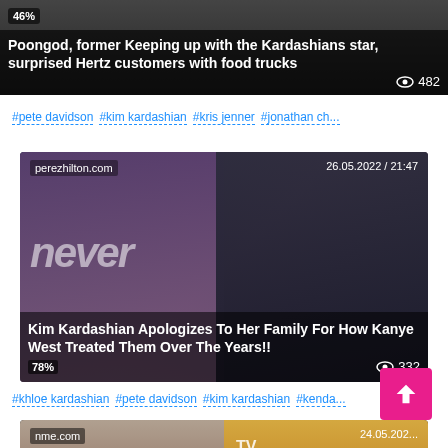[Figure (screenshot): News article thumbnail: Poongod, former Keeping up with the Kardashians star, surprised Hertz customers with food trucks. Shows view count 482 and percentage badge 46%.]
#pete davidson  #kim kardashian  #kris jenner  #jonathan ch...
[Figure (screenshot): News article thumbnail from perezhilton.com dated 26.05.2022 / 21:47. Title: Kim Kardashian Apologizes To Her Family For How Kanye West Treated Them Over The Years!! View count 332, badge 78%.]
#khloe kardashian  #pete davidson  #kim kardashian  #kenda...
[Figure (screenshot): News article thumbnail from nme.com dated 24.05.202... Shows two men, one with curly hair and one with sunglasses. Partially visible.]